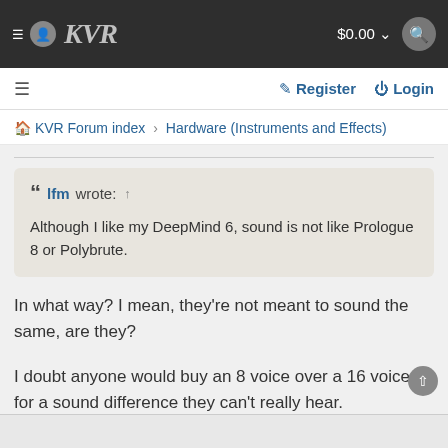KVR $0.00
Register Login
KVR Forum index › Hardware (Instruments and Effects)
lfm wrote: ↑
Although I like my DeepMind 6, sound is not like Prologue 8 or Polybrute.
In what way? I mean, they're not meant to sound the same, are they?
I doubt anyone would buy an 8 voice over a 16 voice for a sound difference they can't really hear.